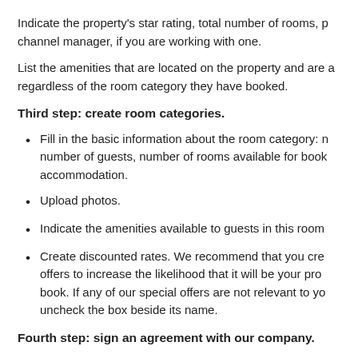Indicate the property's star rating, total number of rooms, p... channel manager, if you are working with one.
List the amenities that are located on the property and are a... regardless of the room category they have booked.
Third step: create room categories.
Fill in the basic information about the room category: n... number of guests, number of rooms available for book... accommodation.
Upload photos.
Indicate the amenities available to guests in this room...
Create discounted rates. We recommend that you cre... offers to increase the likelihood that it will be your pro... book. If any of our special offers are not relevant to yo... uncheck the box beside its name.
Fourth step: sign an agreement with our company.
Fill in all the details about your legal entity.